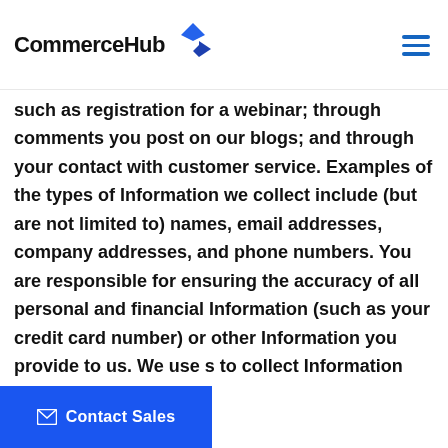CommerceHub
such as registration for a webinar; through comments you post on our blogs; and through your contact with customer service. Examples of the types of Information we collect include (but are not limited to) names, email addresses, company addresses, and phone numbers. You are responsible for ensuring the accuracy of all personal and financial Information (such as your credit card number) or other Information you provide to us. We use [cookies] to collect Information from current and prospective users of our services.